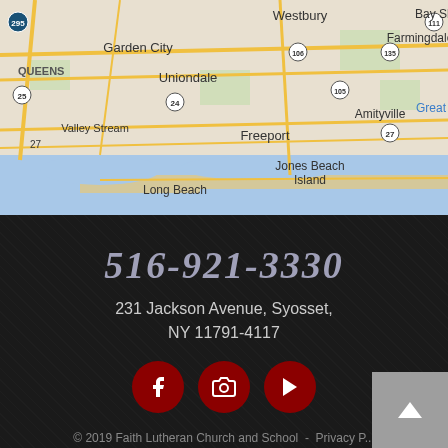[Figure (map): Google Maps showing Long Island NY area including Westbury, Farmingdale, Bay Shore, Garden City, Uniondale, Amityville, Valley Stream, Freeport, Jones Beach Island, Long Beach, with route numbers 295, 25, 24, 106, 135, 105, 27, 111]
516-921-3330
231 Jackson Avenue, Syosset, NY 11791-4117
[Figure (infographic): Three red circular social media icon buttons for Facebook, Instagram (camera), and YouTube]
© 2019 Faith Lutheran Church and School - Privacy P...